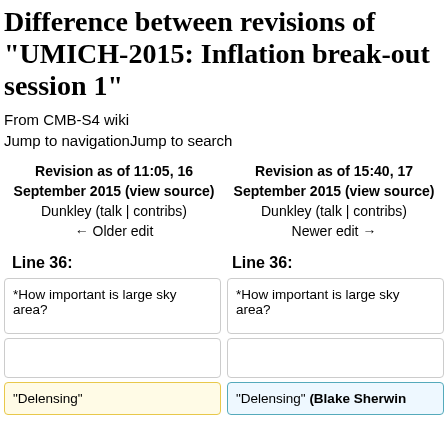Difference between revisions of "UMICH-2015: Inflation break-out session 1"
From CMB-S4 wiki
Jump to navigationJump to search
| Revision as of 11:05, 16 September 2015 (view source) | Revision as of 15:40, 17 September 2015 (view source) |
| --- | --- |
| Dunkley (talk | contribs) | Dunkley (talk | contribs) |
| ← Older edit | Newer edit → |
Line 36:
Line 36:
*How important is large sky area?
*How important is large sky area?
"Delensing"
"Delensing" (Blake Sherwin